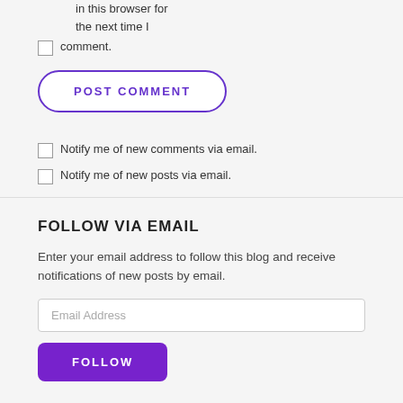in this browser for the next time I comment.
comment.
POST COMMENT
Notify me of new comments via email.
Notify me of new posts via email.
FOLLOW VIA EMAIL
Enter your email address to follow this blog and receive notifications of new posts by email.
Email Address
FOLLOW
TRANSLATE